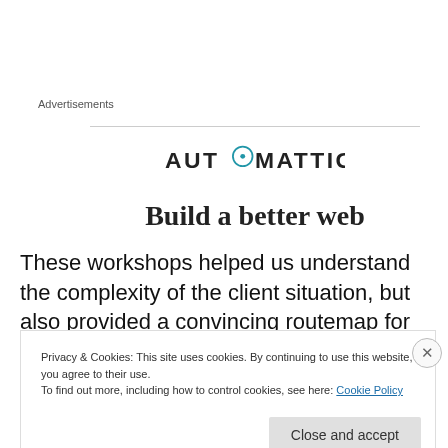Advertisements
[Figure (logo): Automattic logo with compass icon between 'AUT' and 'MATTIC']
Build a better web
These workshops helped us understand the complexity of the client situation, but also provided a convincing routemap for going forward. The team aspect is important.
Privacy & Cookies: This site uses cookies. By continuing to use this website, you agree to their use.
To find out more, including how to control cookies, see here: Cookie Policy